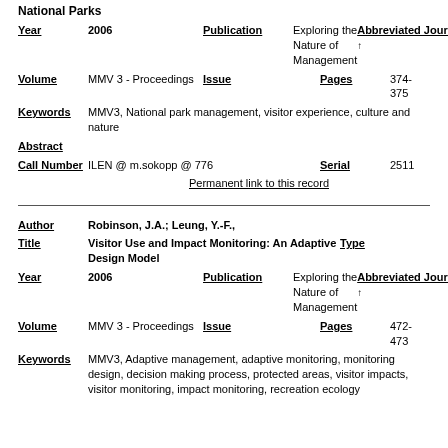National Parks
| Field | Value |
| --- | --- |
| Year | 2006 |
| Publication | Exploring the Nature of Management |
| Abbreviated Journal | ↑ |
| Volume | MMV 3 - Proceedings |
| Issue |  |
| Pages | 374-375 |
| Keywords | MMV3, National park management, visitor experience, culture and nature |
| Abstract |  |
| Call Number | ILEN @ m.sokopp @ 776 |
| Serial | 2511 |
| Permanent link to this record |  |
| Field | Value |
| --- | --- |
| Author | Robinson, J.A.; Leung, Y.-F., |
| Title | Visitor Use and Impact Monitoring: An Adaptive Design Model |
| Type |  |
| Year | 2006 |
| Publication | Exploring the Nature of Management |
| Abbreviated Journal | ↑ |
| Volume | MMV 3 - Proceedings |
| Issue |  |
| Pages | 472-473 |
| Keywords | MMV3, Adaptive management, adaptive monitoring, monitoring design, decision making process, protected areas, visitor impacts, visitor monitoring, impact monitoring, recreation ecology |